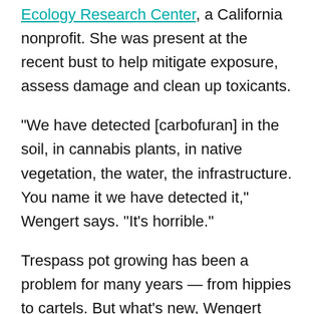Ecology Research Center, a California nonprofit. She was present at the recent bust to help mitigate exposure, assess damage and clean up toxicants.
“We have detected [carbofuran] in the soil, in cannabis plants, in native vegetation, the water, the infrastructure. You name it we have detected it,” Wengert says. “It’s horrible.”
Trespass pot growing has been a problem for many years — from hippies to cartels. But what’s new, Wengert says, is that cartel growers are using more poisons and spreading them indiscriminately on the pot, the soil, all around.
They do that to protect their cash crop from insects as well as from rodents that like to chew into the